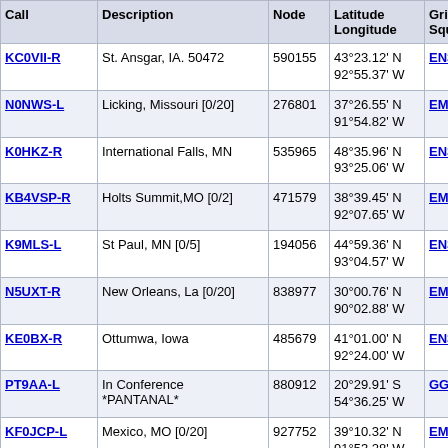| Call | Description | Node | Latitude Longitude | Grid Square | Dis (m |
| --- | --- | --- | --- | --- | --- |
| KC0VII-R | St. Ansgar, IA. 50472 | 590155 | 43°23.12' N 92°55.37' W | EN33mj | 86 |
| N0NWS-L | Licking, Missouri [0/20] | 276801 | 37°26.55' N 91°54.82' W | EM47bk | 86 |
| K0HKZ-R | International Falls, MN | 535965 | 48°35.96' N 93°25.06' W | EN38go | 86 |
| KB4VSP-R | Holts Summit,MO [0/2] | 471579 | 38°39.45' N 92°07.65' W | EM38wp | 86 |
| K9MLS-L | St Paul, MN [0/5] | 194056 | 44°59.36' N 93°04.57' W | EN34lx | 86 |
| N5UXT-R | New Orleans, La [0/20] | 838977 | 30°00.76' N 90°02.88' W | EM40xa | 86 |
| KE0BX-R | Ottumwa, Iowa | 485679 | 41°01.00' N 92°24.00' W | EN31ta | 86 |
| PT9AA-L | In Conference *PANTANAL* | 880912 | 20°29.91' S 54°36.25' W | GG29qm | 86 |
| KF0JCP-L | Mexico, MO [0/20] | 927752 | 39°10.32' N 91°53.28' W | EM49be | 86 |
| W5WRA-R | Imboden | 593943 | 36°10.00' N 91°13.00' W | EM46je | 86 |
| W5DRA-R | Raymond,MS,147.-80+77hz | 39056 | 32°20.16' N 90°19.48' W | EM42ui | 86 |
| NEEL-L | Ellisville Mississippi ... | 6726 | 31°19.96' N | EM51ch | 86 |